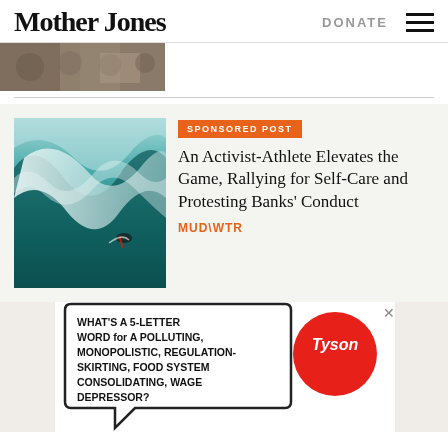Mother Jones
DONATE
[Figure (photo): Partial photo of a crowd of people at the top of the page]
[Figure (photo): Surfer riding inside a large wave]
SPONSORED POST
An Activist-Athlete Elevates the Game, Rallying for Self-Care and Protesting Banks' Conduct
MUD\WTR
[Figure (illustration): Advertisement illustration with speech bubble containing handwritten text: WHAT'S A 5-LETTER WORD FOR A POLLUTING, MONOPOLISTIC, REGULATION-SKIRTING, FOOD SYSTEM CONSOLIDATING, WAGE DEPRESSOR? with Tyson logo in red circle]